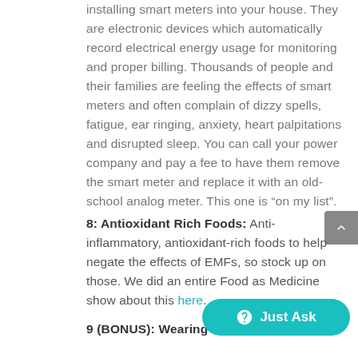installing smart meters into your house. They are electronic devices which automatically record electrical energy usage for monitoring and proper billing. Thousands of people and their families are feeling the effects of smart meters and often complain of dizzy spells, fatigue, ear ringing, anxiety, heart palpitations and disrupted sleep. You can call your power company and pay a fee to have them remove the smart meter and replace it with an old-school analog meter. This one is “on my list”.
8: Antioxidant Rich Foods: Anti-inflammatory, antioxidant-rich foods to help negate the effects of EMFs, so stock up on those. We did an entire Food as Medicine show about this here.
9 (BONUS): Wearing EMF-Proof Clo...